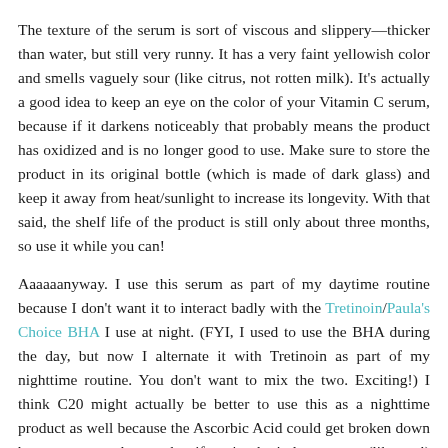The texture of the serum is sort of viscous and slippery—thicker than water, but still very runny. It has a very faint yellowish color and smells vaguely sour (like citrus, not rotten milk). It's actually a good idea to keep an eye on the color of your Vitamin C serum, because if it darkens noticeably that probably means the product has oxidized and is no longer good to use. Make sure to store the product in its original bottle (which is made of dark glass) and keep it away from heat/sunlight to increase its longevity. With that said, the shelf life of the product is still only about three months, so use it while you can!
Aaaaaanyway. I use this serum as part of my daytime routine because I don't want it to interact badly with the Tretinoin/Paula's Choice BHA I use at night. (FYI, I used to use the BHA during the day, but now I alternate it with Tretinoin as part of my nighttime routine. You don't want to mix the two. Exciting!) I think C20 might actually be better to use this as a nighttime product as well because the Ascorbic Acid could get broken down by exposure to the sun, but if you're the indoorsy type (like me!) that is perhaps not such a